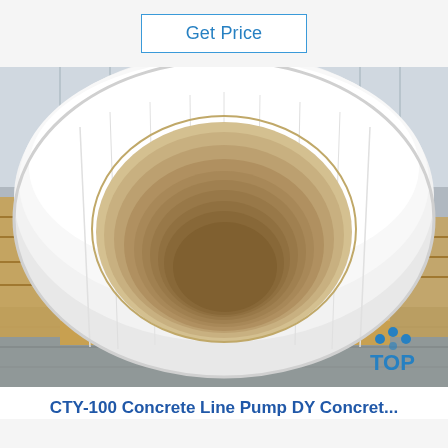Get Price
[Figure (photo): A large industrial roll of thin metallic or plastic sheet material (likely aluminum or HDPE liner) resting on wooden pallets in a warehouse. The roll is white/silver, shown front-on revealing a hollow cardboard core, with timber pallet boards visible underneath and corrugated metal wall panels in the background.]
CTY-100 Concrete Line Pump DY Concret...